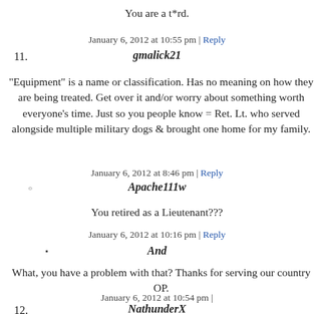You are a t*rd.
January 6, 2012 at 10:55 pm | Reply
11. gmalick21
"Equipment" is a name or classification. Has no meaning on how they are being treated. Get over it and/or worry about something worth everyone's time. Just so you people know = Ret. Lt. who served alongside multiple military dogs & brought one home for my family.
January 6, 2012 at 8:46 pm | Reply
Apache111w
You retired as a Lieutenant???
January 6, 2012 at 10:16 pm | Reply
And
What, you have a problem with that? Thanks for serving our country OP.
January 6, 2012 at 10:54 pm |
12. NathunderX